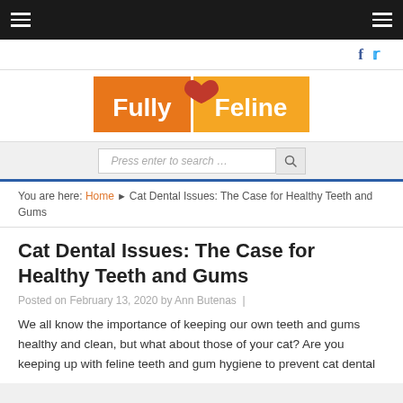Fully Feline - navigation header
[Figure (logo): Fully Feline logo with orange background, white text 'Fully' and 'Feline', separated by a vertical bar, with a red heart above]
Press enter to search …
You are here: Home ▶ Cat Dental Issues: The Case for Healthy Teeth and Gums
Cat Dental Issues: The Case for Healthy Teeth and Gums
Posted on February 13, 2020 by Ann Butenas  |
We all know the importance of keeping our own teeth and gums healthy and clean, but what about those of your cat? Are you keeping up with feline teeth and gum hygiene to prevent cat dental